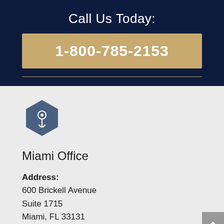Call Us Today:
1-800-785-2153
[Figure (illustration): Dark blue hexagon shape with a white map pin / location marker icon in the center]
Miami Office
Address:
600 Brickell Avenue
Suite 1715
Miami, FL 33131
Phone: 305-200-8674